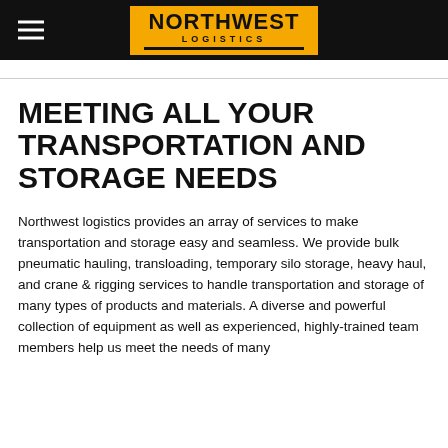[Figure (logo): Northwest Logistics logo — yellow/gold rectangle with bold black text 'NORTHWEST' and 'LOGISTICS' below, with a black stripe at the bottom]
MEETING ALL YOUR TRANSPORTATION AND STORAGE NEEDS
Northwest logistics provides an array of services to make transportation and storage easy and seamless. We provide bulk pneumatic hauling, transloading, temporary silo storage, heavy haul, and crane & rigging services to handle transportation and storage of many types of products and materials. A diverse and powerful collection of equipment as well as experienced, highly-trained team members help us meet the needs of many